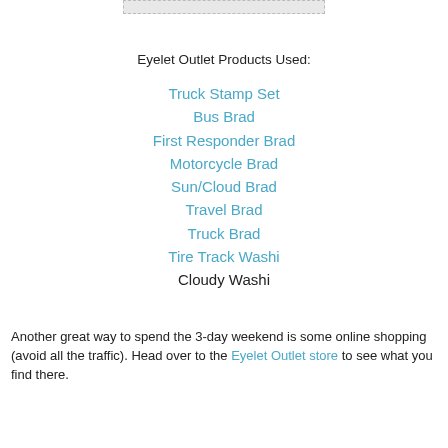[Figure (other): Partial image at top of page, cropped]
Eyelet Outlet Products Used:
Truck Stamp Set
Bus Brad
First Responder Brad
Motorcycle Brad
Sun/Cloud Brad
Travel Brad
Truck Brad
Tire Track Washi
Cloudy Washi
Another great way to spend the 3-day weekend is some online shopping (avoid all the traffic). Head over to the Eyelet Outlet store to see what you find there.